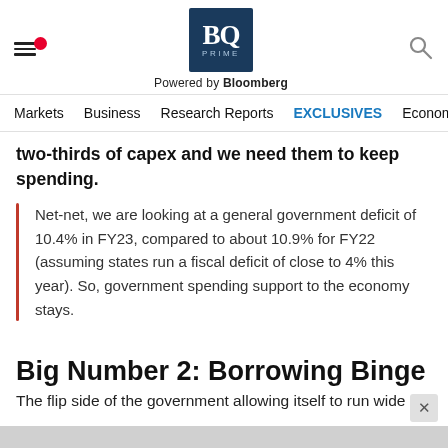BQ Prime — Powered by Bloomberg
Markets   Business   Research Reports   EXCLUSIVES   Economy
two-thirds of capex and we need them to keep spending.
Net-net, we are looking at a general government deficit of 10.4% in FY23, compared to about 10.9% for FY22 (assuming states run a fiscal deficit of close to 4% this year). So, government spending support to the economy stays.
Big Number 2: Borrowing Binge
The flip side of the government allowing itself to run wide